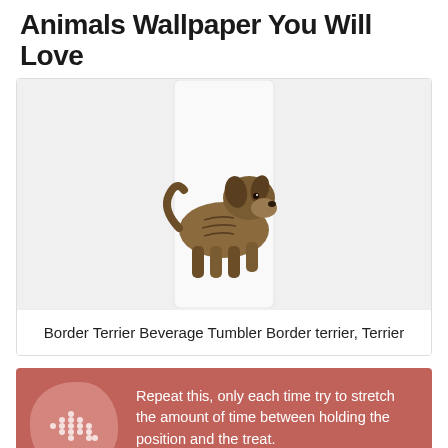Animals Wallpaper You Will Love
[Figure (photo): A Border Terrier dog illustrated on a clear beverage tumbler, shown on a light gray background.]
Border Terrier Beverage Tumbler Border terrier, Terrier
[Figure (infographic): Red-background infographic with two sections. First section shows a dot-pattern icon with text: 'Repeat this, only each time try to stretch the amount of time between holding the position and the treat.' Second section shows a drink icon with bold header 'CHILL' and text: 'Once you feel you have this down, start adding the command "chill" and']
Repeat this, only each time try to stretch the amount of time between holding the position and the treat.
CHILL
Once you feel you have this down, start adding the command "chill" and